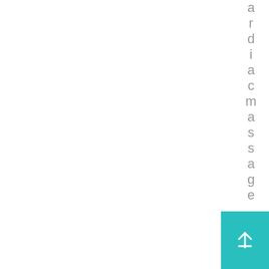ardiacmassage. 10. Re...
[Figure (other): Back to top button arrow in teal/cyan square at bottom right corner]